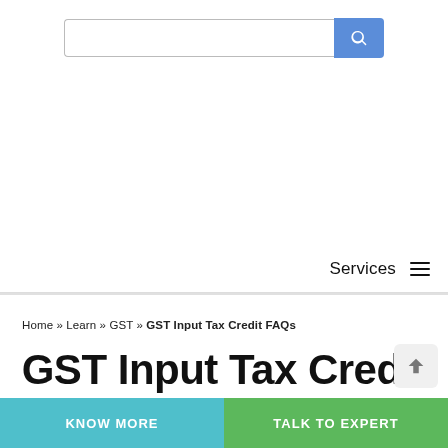[Figure (screenshot): Search bar with blue search button]
Services ☰
Home » Learn » GST » GST Input Tax Credit FAQs
GST Input Tax Credit FAQs
KNOW MORE
TALK TO EXPERT